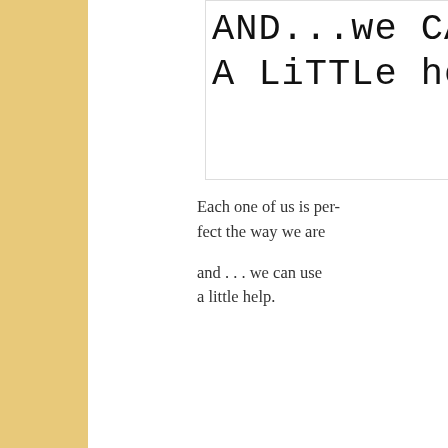[Figure (illustration): Handwritten text reading 'AND...we CAN A LiTTLe hel' (truncated on right), black marker on white background]
Each one of us is perfect the way we are
and . . . we can use a little help.
Click here for a koan from Shunryu Suzuri about this apparent c...
at November 05, 2008   No comments:
Tuesday, November 4, 2008
. . . the rope!
[Figure (illustration): Handwritten text reading 'Now don't forget the...' (truncated), black marker on white background]